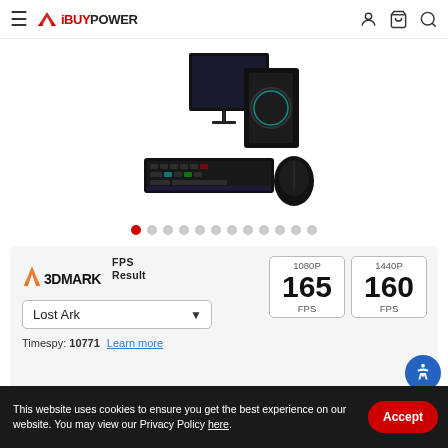iBUYPOWER
[Figure (photo): Gaming PC desktop setup with RGB fan, monitor, RGB keyboard and mouse on white background]
[Figure (infographic): 3DMARK FPS Result panel showing Lost Ark selected, 1080P: 165 FPS, 1440P: 160 FPS, Timespy: 10771]
This website uses cookies to ensure you get the best experience on our website. You may view our Privacy Policy here.